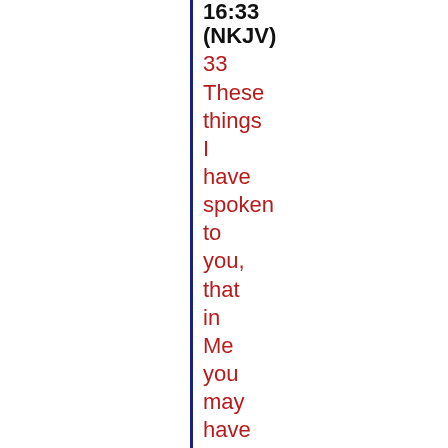16:33 (NKJV)
33 These things I have spoken to you, that in Me you may have peace. In the world you will have tribulation; but be of